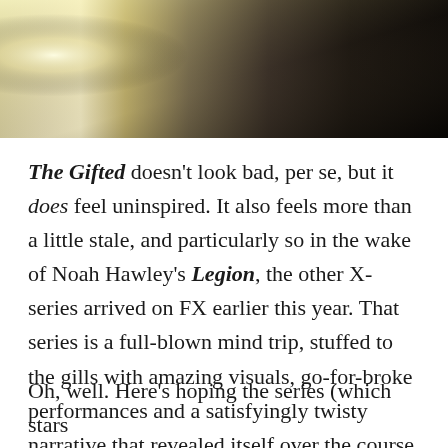[Figure (photo): Dark atmospheric photo, partially showing a bright light source on the left fading to deep shadow and black on the right, appears to be a scene from a TV show.]
The Gifted doesn't look bad, per se, but it does feel uninspired. It also feels more than a little stale, and particularly so in the wake of Noah Hawley's Legion, the other X-series arrived on FX earlier this year. That series is a full-blown mind trip, stuffed to the gills with amazing visuals, go-for-broke performances and a satisfyingly twisty narrative that revealed itself over the course of the show's first season. The Gifted looks like about half a dozen other things I've already seen.
Oh, well. Here's hoping the series (which stars